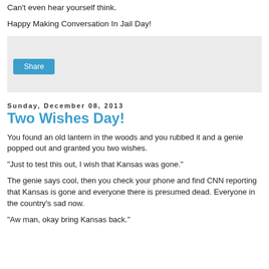Can't even hear yourself think.
Happy Making Conversation In Jail Day!
[Figure (screenshot): Grey share box with a blue Share button]
Sunday, December 08, 2013
Two Wishes Day!
You found an old lantern in the woods and you rubbed it and a genie popped out and granted you two wishes.
“Just to test this out, I wish that Kansas was gone.”
The genie says cool, then you check your phone and find CNN reporting that Kansas is gone and everyone there is presumed dead. Everyone in the country’s sad now.
“Aw man, okay bring Kansas back.”